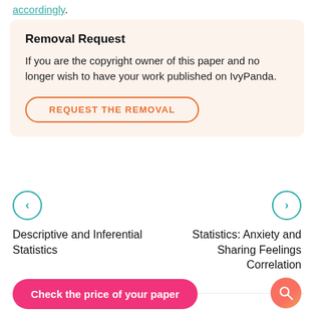accordingly.
Removal Request
If you are the copyright owner of this paper and no longer wish to have your work published on IvyPanda.
REQUEST THE REMOVAL
Descriptive and Inferential Statistics
Statistics: Anxiety and Sharing Feelings Correlation
Check the price of your paper